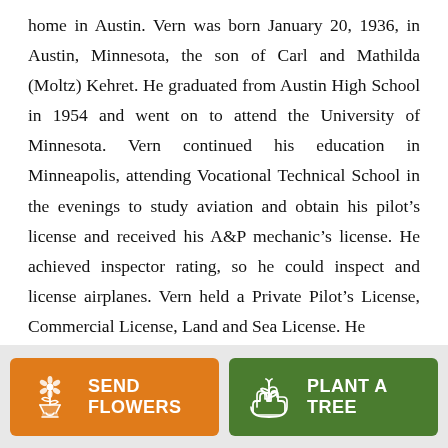home in Austin. Vern was born January 20, 1936, in Austin, Minnesota, the son of Carl and Mathilda (Moltz) Kehret. He graduated from Austin High School in 1954 and went on to attend the University of Minnesota. Vern continued his education in Minneapolis, attending Vocational Technical School in the evenings to study aviation and obtain his pilot’s license and received his A&P mechanic’s license. He achieved inspector rating, so he could inspect and license airplanes. Vern held a Private Pilot’s License, Commercial License, Land and Sea License. He
[Figure (infographic): Two call-to-action buttons: 'SEND FLOWERS' on an orange background with a flower bouquet icon, and 'PLANT A TREE' on a green background with a seedling/hand icon.]